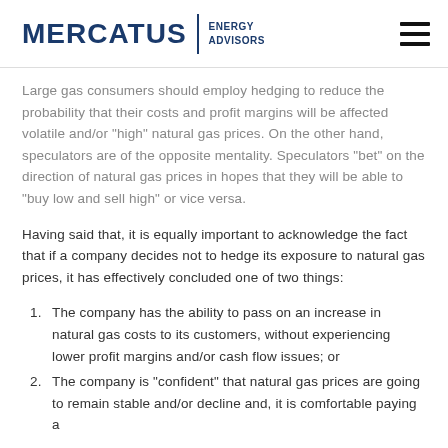[Figure (logo): Mercatus Energy Advisors logo with hamburger menu icon]
Large gas consumers should employ hedging to reduce the probability that their costs and profit margins will be affected volatile and/or "high" natural gas prices. On the other hand, speculators are of the opposite mentality. Speculators "bet" on the direction of natural gas prices in hopes that they will be able to "buy low and sell high" or vice versa.
Having said that, it is equally important to acknowledge the fact that if a company decides not to hedge its exposure to natural gas prices, it has effectively concluded one of two things:
The company has the ability to pass on an increase in natural gas costs to its customers, without experiencing lower profit margins and/or cash flow issues; or
The company is "confident" that natural gas prices are going to remain stable and/or decline and, it is comfortable paying a